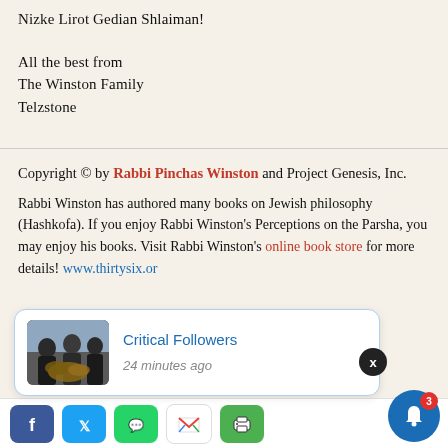Nizke Lirot Gedian Shlaiman!
All the best from
The Winston Family
Telzstone
Copyright © by Rabbi Pinchas Winston and Project Genesis, Inc.
Rabbi Winston has authored many books on Jewish philosophy (Hashkofa). If you enjoy Rabbi Winston's Perceptions on the Parsha, you may enjoy his books. Visit Rabbi Winston's online book store for more details! www.thirtysix.or…
[Figure (screenshot): Notification popup card showing 'Critical Followers' with a thumbnail image of hands and timestamp '24 minutes ago', with an X close button overlay]
[Figure (screenshot): Social share bar with Facebook, Twitter, WhatsApp, Gmail, and printer icons]
[Figure (screenshot): Blue notification bell button with red badge showing number 3]